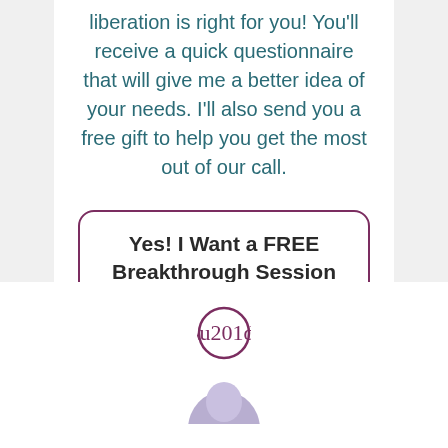liberation is right for you! You'll receive a quick questionnaire that will give me a better idea of your needs. I'll also send you a free gift to help you get the most out of our call.
Yes! I Want a FREE Breakthrough Session
[Figure (illustration): A circular quotation mark icon (closing double quotes) with a purple border, centered on a white background section at the bottom of the page.]